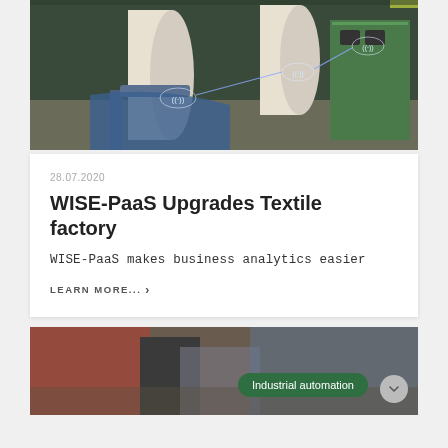[Figure (photo): Industrial textile factory interior with large paper/fabric rolls and machinery, overlay showing wireless connectivity icons (IoT sensor symbols) connected by glowing blue lines]
28.07.2020
WISE-PaaS Upgrades Textile factory
WISE-PaaS makes business analytics easier
LEARN MORE... >
[Figure (photo): Industrial automation setting, partially visible at bottom of page, with a green badge overlay reading 'Industrial automation']